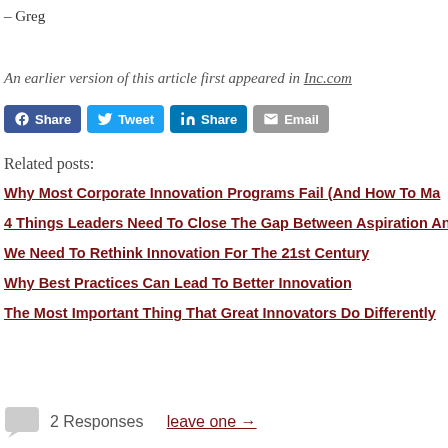– Greg
An earlier version of this article first appeared in Inc.com
[Figure (other): Social sharing buttons: Facebook Share, Tweet, LinkedIn Share, Email]
Related posts:
Why Most Corporate Innovation Programs Fail (And How To Ma…
4 Things Leaders Need To Close The Gap Between Aspiration And…
We Need To Rethink Innovation For The 21st Century
Why Best Practices Can Lead To Better Innovation
The Most Important Thing That Great Innovators Do Differently…
2 Responses   leave one →